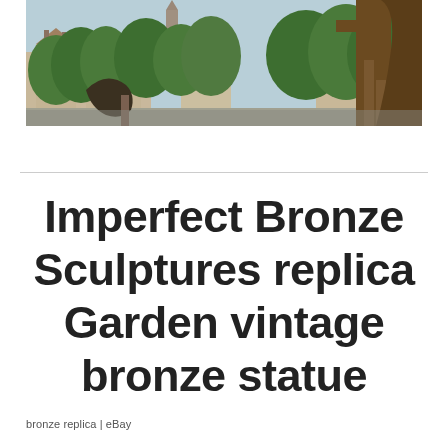[Figure (photo): Outdoor photo showing the lower portion of a large bronze statue on a pedestal, with green trees, historic brick buildings with chimneys, and a street scene in the background. The statue appears dark brown/bronze against a bright sky.]
Imperfect Bronze Sculptures replica Garden vintage bronze statue
bronze replica  |  eBay